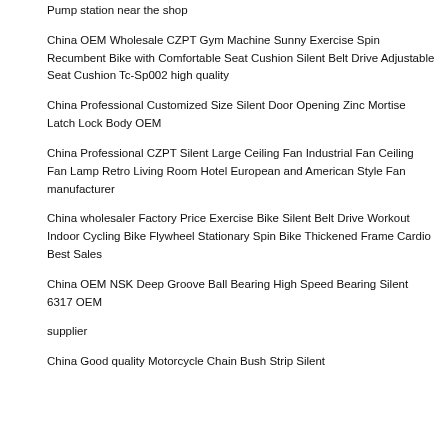Pump station near the shop
China OEM Wholesale CZPT Gym Machine Sunny Exercise Spin Recumbent Bike with Comfortable Seat Cushion Silent Belt Drive Adjustable Seat Cushion Tc-Sp002 high quality
China Professional Customized Size Silent Door Opening Zinc Mortise Latch Lock Body OEM
China Professional CZPT Silent Large Ceiling Fan Industrial Fan Ceiling Fan Lamp Retro Living Room Hotel European and American Style Fan manufacturer
China wholesaler Factory Price Exercise Bike Silent Belt Drive Workout Indoor Cycling Bike Flywheel Stationary Spin Bike Thickened Frame Cardio Best Sales
China OEM NSK Deep Groove Ball Bearing High Speed Bearing Silent 6317 OEM
supplier
China Good quality Motorcycle Chain Bush Strip Silent